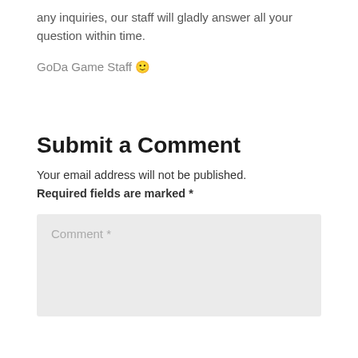any inquiries, our staff will gladly answer all your question within time.
GoDa Game Staff 🙂
Submit a Comment
Your email address will not be published. Required fields are marked *
Comment *